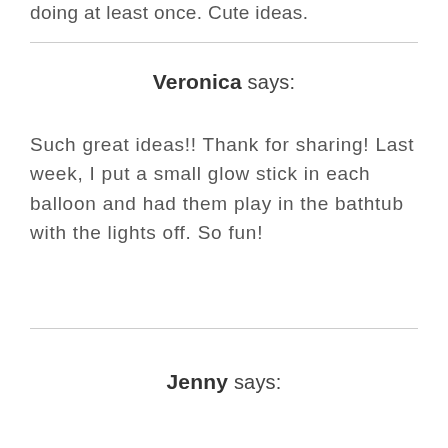doing at least once. Cute ideas.
Veronica says:
Such great ideas!! Thank for sharing! Last week, I put a small glow stick in each balloon and had them play in the bathtub with the lights off. So fun!
Jenny says: